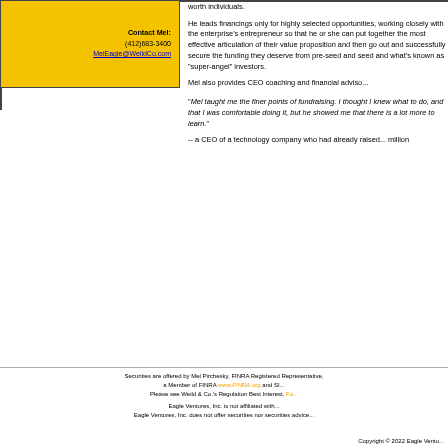Contact Mel:
(412)683-3400
MelEagle@WeildCo.com
worth individuals.
He leads financings only for highly selected opportunities, working closely with the enterprise's entrepreneur so that he or she can put together the most effective articulation of their value proposition and then go out and successfully secure the funding they deserve from pre-seed and seed and what's known as "super-angel" investors.
Mel also provides CEO coaching and financial adviso...
"Mel taught me the finer points of fundraising. I thought I knew what to do, and that I was comfortable doing it, but he showed me that there is a lot more to learn."
-- a CEO of a technology company who had already raised... million
Securities are offered by Mel Pirchesky, FINRA Registered Representative, a Member of FINRA www.FINRA.org and SI... Please see Weild & Co.'s Regulation Best Interest, Fo...
Eagle Ventures, Inc. is not affiliated with...
Eagle Ventures, Inc. does not offer securities nor securities advice...
Copyright © 2022 Eagle Ventu...